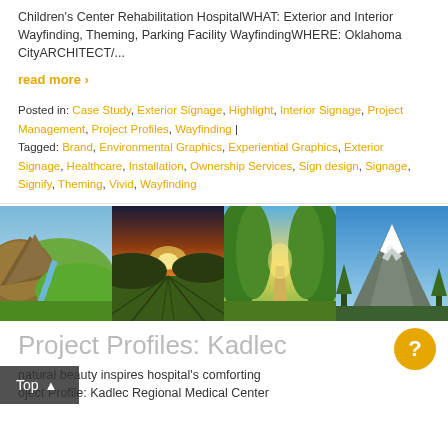Children's Center Rehabilitation HospitalWHAT: Exterior and Interior Wayfinding, Theming, Parking Facility WayfindingWHERE: Oklahoma CityARCHITECT/...
read more ›
Posted in: Case Study, Exterior Signage, Highlight, Interior Signage, Project Management, Project Profiles, Wayfinding | Tagged: Brand, Environmental Graphics, Experiential Graphics, Exterior Signage, Healthcare, Installation, Ownership Services, Sign design, Signage, Signify, Theming, Vivid, Wayfinding
[Figure (photo): Four landscape photos side by side: rocky hill with river, vineyard at sunset, tree-lined path, snow-capped mountain with lake]
Project Profiles: Kadlec
natural beauty inspires hospital's comforting oject Profile: Kadlec Regional Medical Center